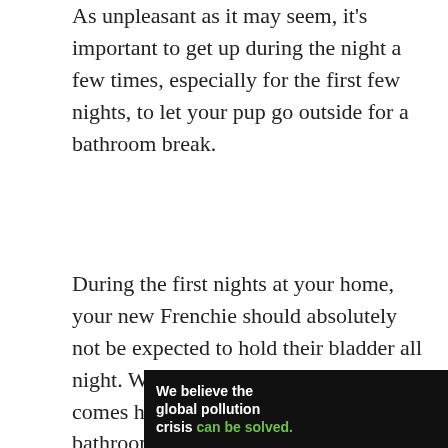As unpleasant as it may seem, it's important to get up during the night a few times, especially for the first few nights, to let your pup go outside for a bathroom break.
During the first nights at your home, your new Frenchie should absolutely not be expected to hold their bladder all night. When your new dog initially comes home with you, make night-time bathroom breaks easier by having your dog sleep in a room with you or you can relocate to sleep near it to make sure you can keep an eye on when it needs to be taken out. Read more on bedtime tips and tricks.
[Figure (other): Advertisement banner for Pure Earth. Black background. Left side bold white text: 'We believe the global pollution crisis can be solved.' with 'can be solved.' in green. Middle small grey text: 'In a world where pollution doesn't stop at borders, we can all be part of the solution.' followed by 'JOIN US.' in yellow/gold. Right side: Pure Earth logo with orange/gold diamond layered icon and white bold text 'PURE EARTH'.]